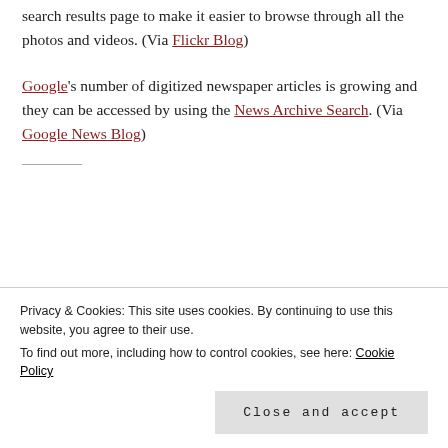search results page to make it easier to browse through all the photos and videos. (Via Flickr Blog)
Google's number of digitized newspaper articles is growing and they can be accessed by using the News Archive Search. (Via Google News Blog)
Privacy & Cookies: This site uses cookies. By continuing to use this website, you agree to their use. To find out more, including how to control cookies, see here: Cookie Policy